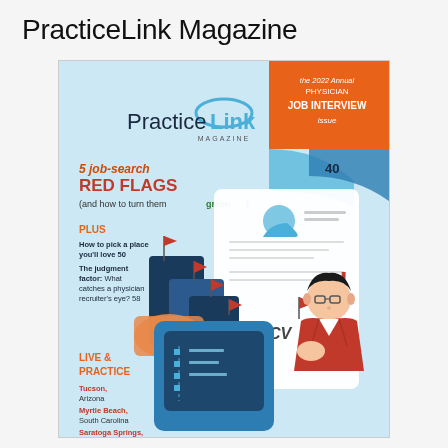PracticeLink Magazine
[Figure (illustration): Cover of PracticeLink Magazine showing an illustrated physician in a red jacket holding a CV document, with red flags on buildings in the background. Features text: '5 job-search RED FLAGS (and how to turn them green)', 'PLUS', 'How to pick a place you'll love 50', 'The judgment factor: What catches a physician recruiter's eye? 58', 'LIVE & PRACTICE', 'Tucson, Arizona', 'Myrtle Beach, South Carolina', 'Saratoga Springs, New York'. Orange box in upper right reads: 'the 2022 Annual PHYSICIAN JOB INTERVIEW issue'. PracticeLink MAGAZINE logo at top center.]